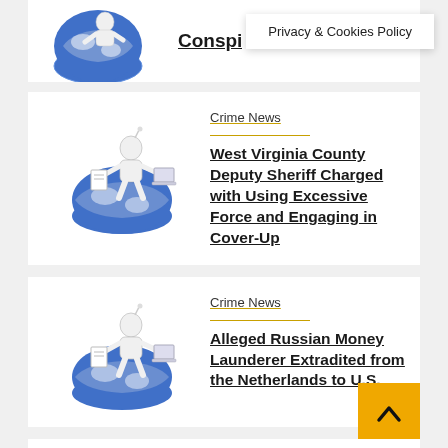[Figure (illustration): Partial view of a 3D figure sitting on a globe, cropped at top of page]
Conspi... (partial headline, cropped)
Privacy & Cookies Policy
Crime News
West Virginia County Deputy Sheriff Charged with Using Excessive Force and Engaging in Cover-Up
[Figure (illustration): 3D white figure sitting on a globe with documents/newspapers]
Crime News
Alleged Russian Money Launderer Extradited from the Netherlands to U.S.
[Figure (illustration): 3D white figure sitting on a globe with documents/newspapers]
Crime News
[Figure (illustration): Partial 3D white figure sitting on globe, cropped at bottom of page]